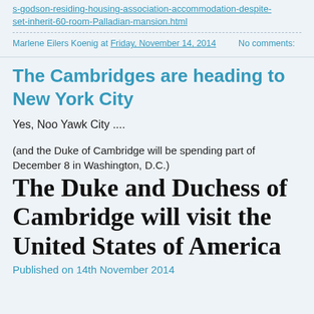s-godson-residing-housing-association-accommodation-despite-set-inherit-60-room-Palladian-mansion.html
Marlene Eilers Koenig at Friday, November 14, 2014    No comments:
The Cambridges are heading to New York City
Yes, Noo Yawk City ....
(and the Duke of Cambridge will be spending part of December 8 in Washington, D.C.)
The Duke and Duchess of Cambridge will visit the United States of America
Published on 14th November 2014